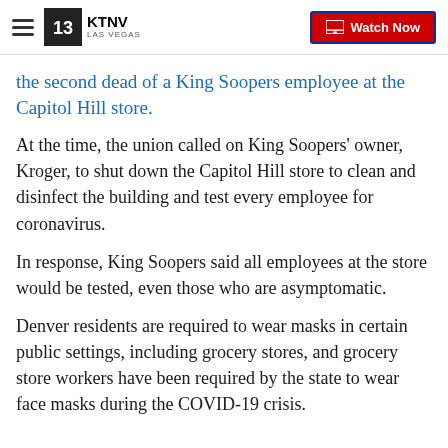KTNV LAS VEGAS | Watch Now
the second dead of a King Soopers employee at the Capitol Hill store.
At the time, the union called on King Soopers' owner, Kroger, to shut down the Capitol Hill store to clean and disinfect the building and test every employee for coronavirus.
In response, King Soopers said all employees at the store would be tested, even those who are asymptomatic.
Denver residents are required to wear masks in certain public settings, including grocery stores, and grocery store workers have been required by the state to wear face masks during the COVID-19 crisis.